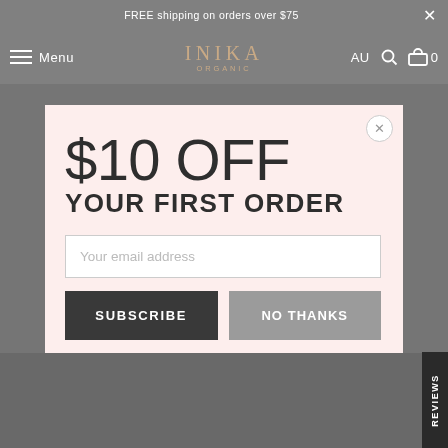FREE shipping on orders over $75
[Figure (logo): INIKA ORGANIC brand logo with hamburger menu and navigation bar]
$10 OFF YOUR FIRST ORDER
Your email address
SUBSCRIBE
NO THANKS